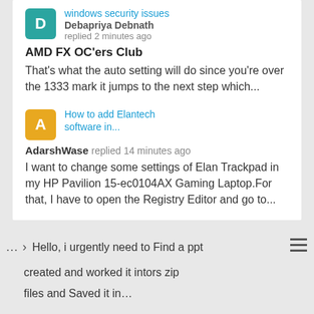windows security issues
Debapriya Debnath replied 2 minutes ago
AMD FX OC'ers Club
That's what the auto setting will do since you're over the 1333 mark it jumps to the next step which...
How to add Elantech software in...
AdarshWase replied 14 minutes ago
I want to change some settings of Elan Trackpad in my HP Pavilion 15-ec0104AX Gaming Laptop.For that, I have to open the Registry Editor and go to...
... > Hello, i urgently need to Find a ppt created and worked it intors zip files and Saved it in...